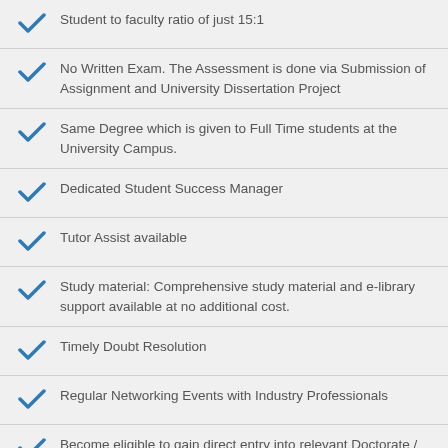Student to faculty ratio of just 15:1
No Written Exam. The Assessment is done via Submission of Assignment and University Dissertation Project
Same Degree which is given to Full Time students at the University Campus.
Dedicated Student Success Manager
Tutor Assist available
Study material: Comprehensive study material and e-library support available at no additional cost.
Timely Doubt Resolution
Regular Networking Events with Industry Professionals
Become eligible to gain direct entry into relevant Doctorate / PhD programme